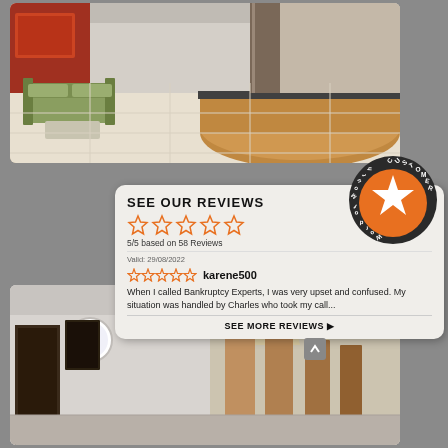[Figure (photo): Office lobby photo showing reception desk and seating area with white tiles, green sofa, and curved wooden reception counter]
[Figure (infographic): Customer review widget showing 5/5 stars based on 58 reviews, with a review by karene500 and a Customer Approved Word of Mouth badge]
[Figure (photo): Office interior photo showing white walls with circular windows and a corridor with warm lighting and dark wood doors]